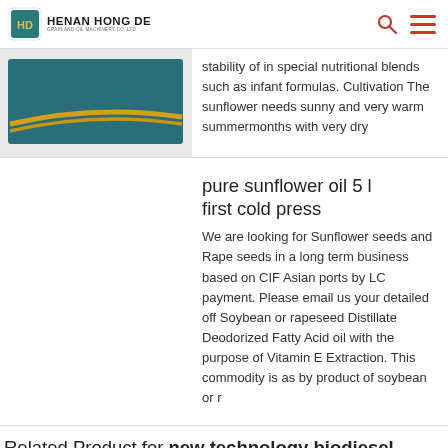HENAN HONG DE GRAIN AND OIL MACHINERY CO.,LTD
[Figure (photo): Product image showing golden curved elements on teal/dark background, partially cropped]
stability of in special nutritional blends such as infant formulas. Cultivation The sunflower needs sunny and very warm summermonths with very dry
pure sunflower oil 5 l first cold press
We are looking for Sunflower seeds and Rape seeds in a long term business based on CIF Asian ports by LC payment. Please email us your detailed off Soybean or rapeseed Distillate Deodorized Fatty Acid oil with the purpose of Vitamin E Extraction. This commodity is as by product of soybean or r
Related Product for new technology biodiesel production machine for used sunfloweroil to biodiesel: